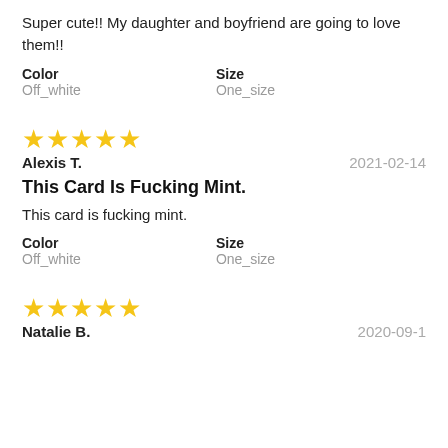Super cute!! My daughter and boyfriend are going to love them!!
Color: Off_white  Size: One_size
[Figure (other): 5 yellow stars rating]
Alexis T.   2021-02-14
This Card Is Fucking Mint.
This card is fucking mint.
Color: Off_white  Size: One_size
[Figure (other): 5 yellow stars rating]
Natalie B.   2020-09-1